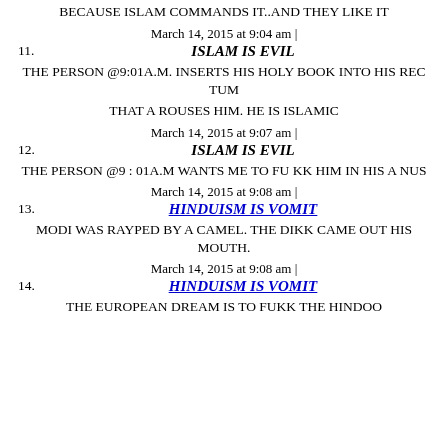BECAUSE ISLAM COMMANDS IT..AND THEY LIKE IT
March 14, 2015 at 9:04 am |
11. ISLAM IS EVIL
THE PERSON @9:01A.M. INSERTS HIS HOLY BOOK INTO HIS REC TUM
THAT A ROUSES HIM. HE IS ISLAMIC
March 14, 2015 at 9:07 am |
12. ISLAM IS EVIL
THE PERSON @9 : 01A.M WANTS ME TO FU KK HIM IN HIS A NUS
March 14, 2015 at 9:08 am |
13. HINDUISM IS VOMIT
MODI WAS RAYPED BY A CAMEL. THE DIKK CAME OUT HIS MOUTH.
March 14, 2015 at 9:08 am |
14. HINDUISM IS VOMIT
THE EUROPEAN DREAM IS TO FUKK THE HINDOO